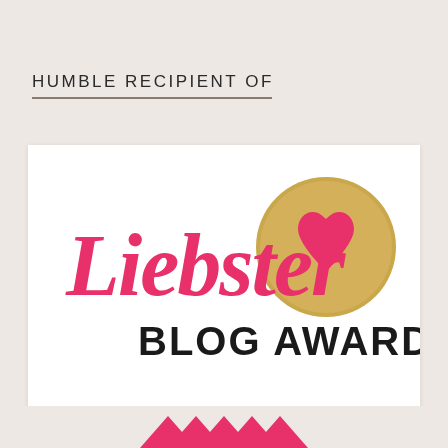HUMBLE RECIPIENT OF
[Figure (illustration): Liebster Blog Award logo: red cursive 'Liebster' text with a gold starburst seal containing a pink heart, and bold black text 'BLOG AWARD' underneath, on a white rectangular background.]
[Figure (illustration): Bottom decorative pink zigzag/chevron banner partially visible at the bottom of the page.]